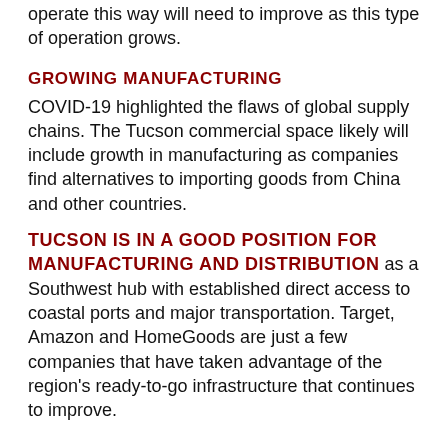operate this way will need to improve as this type of operation grows.
GROWING MANUFACTURING
COVID-19 highlighted the flaws of global supply chains. The Tucson commercial space likely will include growth in manufacturing as companies find alternatives to importing goods from China and other countries.
TUCSON IS IN A GOOD POSITION FOR MANUFACTURING AND DISTRIBUTION as a Southwest hub with established direct access to coastal ports and major transportation. Target, Amazon and HomeGoods are just a few companies that have taken advantage of the region's ready-to-go infrastructure that continues to improve.